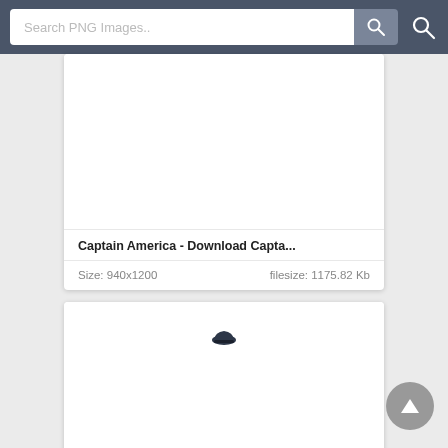Search PNG Images..
[Figure (screenshot): White card area for first image result (Captain America), mostly blank white space]
Captain America - Download Capta...
Size: 940x1200    filesize: 1175.82 Kb
[Figure (screenshot): White card area for second image result, shows a small dark helmet/cap icon near top center]
Captain America - Download Capta...